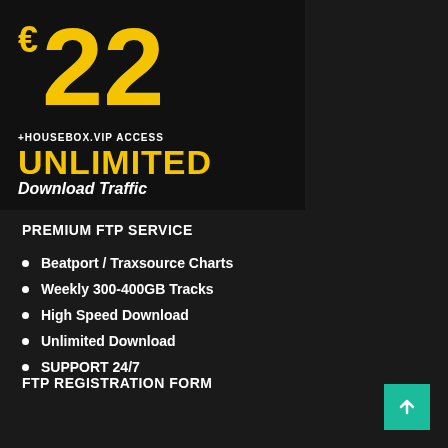[Figure (infographic): Dark banner showing price €22 in large yellow text, with '+HOUSEBOX.VIP ACCESS', 'UNLIMITED' in yellow, and 'Download Traffic' in white italic]
PREMIUM FTP SERVICE
Beatport / Traxsource Charts
Weekly 300-400GB Tracks
High Speed Download
Unlimited Download
SUPPORT 24/7
FTP REGISTRATION FORM